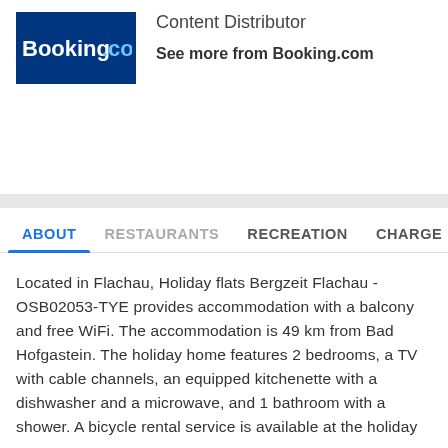[Figure (logo): Booking.com logo — white text on dark blue background]
Content Distributor
See more from Booking.com
ABOUT    RESTAURANTS    RECREATION    CHARGE
Located in Flachau, Holiday flats Bergzeit Flachau - OSB02053-TYE provides accommodation with a balcony and free WiFi. The accommodation is 49 km from Bad Hofgastein. The holiday home features 2 bedrooms, a TV with cable channels, an equipped kitchenette with a dishwasher and a microwave, and 1 bathroom with a shower. A bicycle rental service is available at the holiday